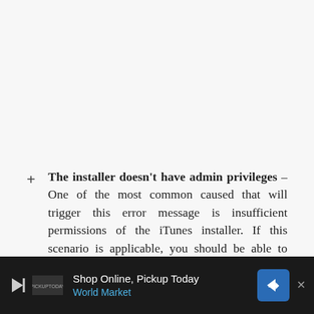The installer doesn't have admin privileges – One of the most common caused that will trigger this error message is insufficient permissions of the iTunes installer. If this scenario is applicable, you should be able to resolve the issue by ensuring that you open iTunes with administrative privileges.
Visual C++ Package is missing or is corrupted – … due
[Figure (other): Advertisement banner at bottom of page: 'Shop Online, Pickup Today – World Market' with play button, brand logo, and navigation arrow icon. Dark background bar.]